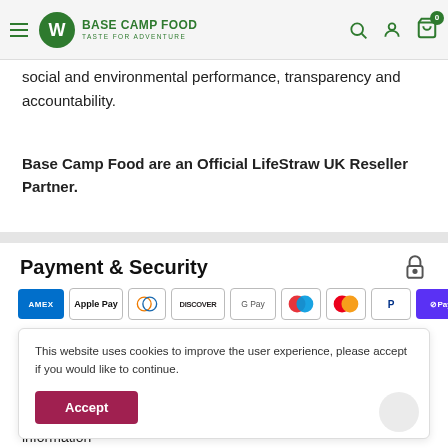BASE CAMP FOOD — TASTE FOR ADVENTURE
social and environmental performance, transparency and accountability.
Base Camp Food are an Official LifeStraw UK Reseller Partner.
Payment & Security
[Figure (other): Payment method logos: American Express, Apple Pay, Diners Club, Discover, Google Pay, Maestro, Mastercard, PayPal, Shop Pay]
This website uses cookies to improve the user experience, please accept if you would like to continue.
information